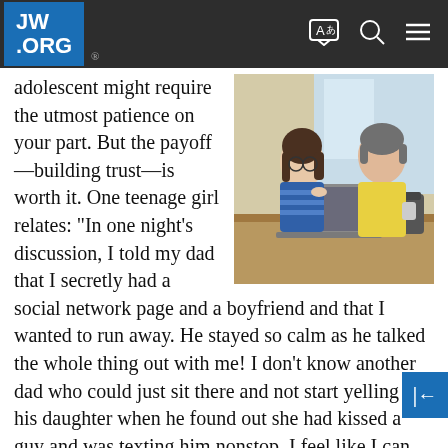JW.ORG
[Figure (photo): A woman in a blue striped top and a man in a yellow shirt sitting at a table with a laptop, having a conversation.]
adolescent might require the utmost patience on your part. But the payoff—building trust—is worth it. One teenage girl relates: “In one night’s discussion, I told my dad that I secretly had a social network page and a boyfriend and that I wanted to run away. He stayed so calm as he talked the whole thing out with me! I don’t know another dad who could just sit there and not start yelling at his daughter when he found out she had kissed a guy and was texting him nonstop. I feel like I can tell my dad anything. I know he really wants to help me.”